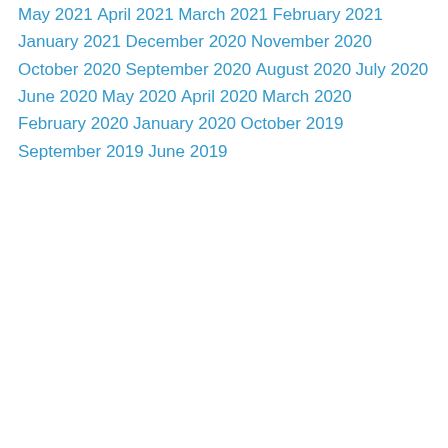May 2021
April 2021
March 2021
February 2021
January 2021
December 2020
November 2020
October 2020
September 2020
August 2020
July 2020
June 2020
May 2020
April 2020
March 2020
February 2020
January 2020
October 2019
September 2019
June 2019